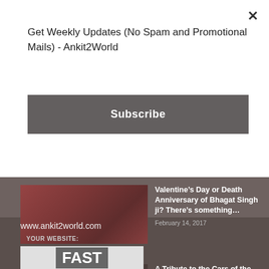Get Weekly Updates (No Spam and Promotional Mails) - Ankit2World
Subscribe
Valentine’s Day or Death Anniversary of Bhagat Singh ji? There’s something...
February 14, 2017
A Tribute to the Cars of the 80s & 90s in...
January 29, 2018
www.ankit2world.com
YOUR WEBSITE:
FAST